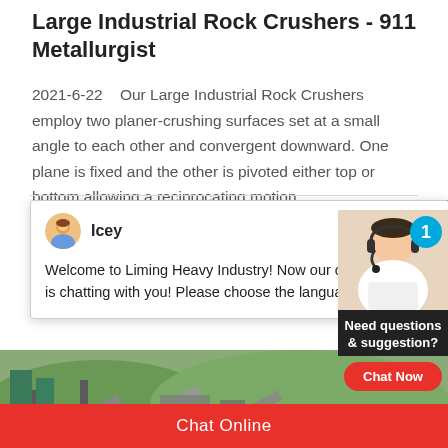Large Industrial Rock Crushers - 911 Metallurgist
2021-6-22    Our Large Industrial Rock Crushers employ two planer-crushing surfaces set at a small angle to each other and convergent downward. One plane is fixed and the other is pivoted either top or bottom allowing a reciprocating motion…
[Figure (screenshot): Chat popup from Liming Heavy Industry with avatar of 'Icey' and message: 'Welcome to Liming Heavy Industry! Now our on-line service is chatting with you! Please choose the language :']
[Figure (photo): Large industrial rock crushing facility with conveyor belts, metal structures, and green silos in a mountainous landscape]
[Figure (photo): Customer service agent photo with headset, blue badge showing number 1, with 'Need questions & suggestion?' text and 'Chat Now' button]
Chat Online